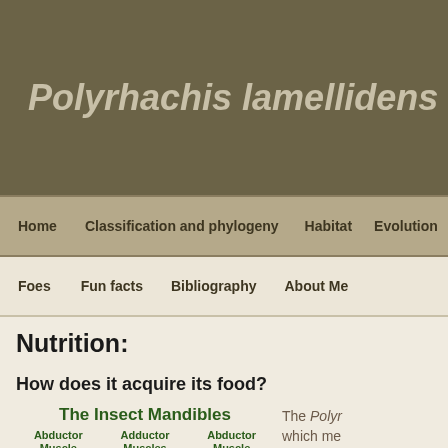Polyrhachis lamellidens
Home | Classification and phylogeny | Habitat | Evolution | Nutri...
Foes | Fun facts | Bibliography | About Me
Nutrition:
How does it acquire its food?
[Figure (illustration): Diagram of insect mandibles showing Abductor Muscle (left), Adductor Muscles (center), and Abductor Muscle (right) with red arrow shapes pointing downward]
The Polyrhachis... which me... animals. receptors